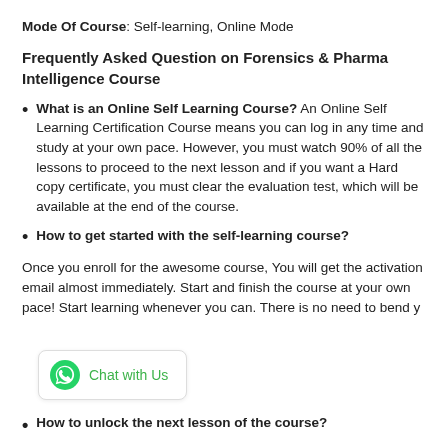Mode Of Course: Self-learning, Online Mode
Frequently Asked Question on Forensics & Pharma Intelligence Course
What is an Online Self Learning Course? An Online Self Learning Certification Course means you can log in any time and study at your own pace. However, you must watch 90% of all the lessons to proceed to the next lesson and if you want a Hard copy certificate, you must clear the evaluation test, which will be available at the end of the course.
How to get started with the self-learning course?
Once you enroll for the awesome course, You will get the activation email almost immediately. Start and finish the course at your own pace! Start learning whenever you can. There is no need to bend y...
How to unlock the next lesson of the course?